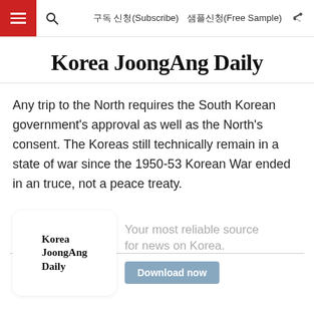구독 신청(Subscribe)  샘플신청(Free Sample)
Korea JoongAng Daily
Any trip to the North requires the South Korean government's approval as well as the North's consent. The Koreas still technically remain in a state of war since the 1950-53 Korean War ended in an truce, not a peace treaty.
[Figure (logo): Korea JoongAng Daily app advertisement banner with logo and Download now button]
Your most reliable source for news on Korea. Download now